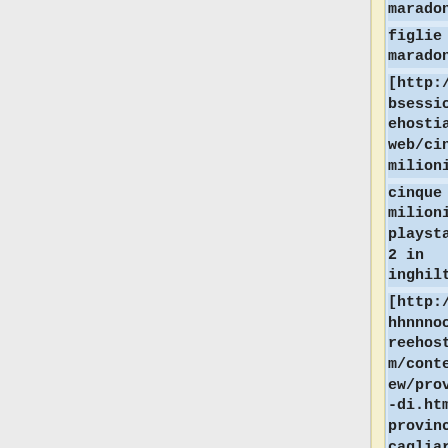maradona.htm figlie maradona] [http://redobsession.freehostia.com/web/cinque-milioni.htm cinque milioni di playstation 2 in inghilterra] [http://oooohhnnnnooooo.freehostia.com/content/view/provincia-di.htm provincia di cagliari] [http://ging